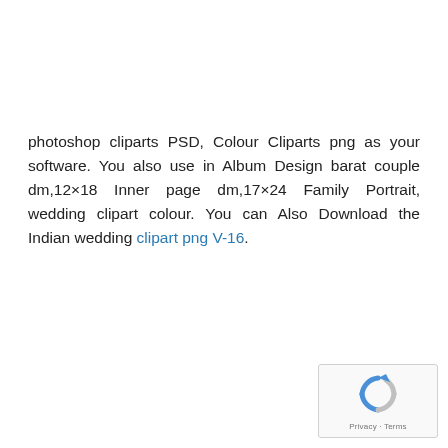photoshop cliparts PSD, Colour Cliparts png as your software. You also use in Album Design barat couple dm,12×18 Inner page dm,17×24 Family Portrait, wedding clipart colour. You can Also Download the Indian wedding clipart png V-16.
[Figure (other): Google reCAPTCHA widget showing a circular arrow icon with 'Privacy - Terms' text below]